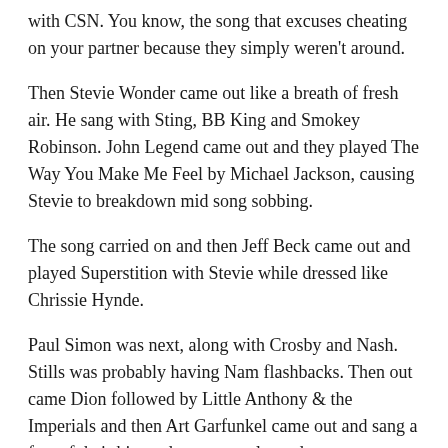with CSN. You know, the song that excuses cheating on your partner because they simply weren't around.
Then Stevie Wonder came out like a breath of fresh air. He sang with Sting, BB King and Smokey Robinson. John Legend came out and they played The Way You Make Me Feel by Michael Jackson, causing Stevie to breakdown mid song sobbing.
The song carried on and then Jeff Beck came out and played Superstition with Stevie while dressed like Chrissie Hynde.
Paul Simon was next, along with Crosby and Nash. Stills was probably having Nam flashbacks. Then out came Dion followed by Little Anthony & the Imperials and then Art Garfunkel came out and sang a few of their hits and everyone clapped.
Aretha was up next looking good and sounding great. Aretha